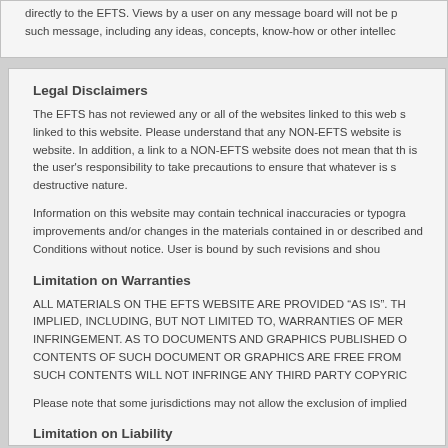directly to the EFTS. Views by a user on any message board will not be processed as such message, including any ideas, concepts, know-how or other intellec
Legal Disclaimers
The EFTS has not reviewed any or all of the websites linked to this web s linked to this website. Please understand that any NON-EFTS website is website. In addition, a link to a NON-EFTS website does not mean that th is the user's responsibility to take precautions to ensure that whatever is s destructive nature.
Information on this website may contain technical inaccuracies or typogra improvements and/or changes in the materials contained in or described and Conditions without notice. User is bound by such revisions and shou
Limitation on Warranties
ALL MATERIALS ON THE EFTS WEBSITE ARE PROVIDED “AS IS”. TH IMPLIED, INCLUDING, BUT NOT LIMITED TO, WARRANTIES OF MER INFRINGEMENT. AS TO DOCUMENTS AND GRAPHICS PUBLISHED O CONTENTS OF SUCH DOCUMENT OR GRAPHICS ARE FREE FROM SUCH CONTENTS WILL NOT INFRINGE ANY THIRD PARTY COPYRIC
Please note that some jurisdictions may not allow the exclusion of implied
Limitation on Liability
IN NO EVENT WILL THE EFTS BE LIABLE TO ANY PARTY FOR ANY D THIS SITE, OR ON ANY OTHER HYPERLINKED WEBSITE, INCLUDIN OF PROGRAMS OR OTHER DATA ON YOUR INFORMATION HANDLI